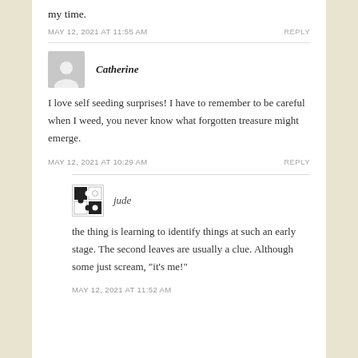my time.
MAY 12, 2021 AT 11:55 AM | REPLY
Catherine
I love self seeding surprises! I have to remember to be careful when I weed, you never know what forgotten treasure might emerge.
MAY 12, 2021 AT 10:29 AM | REPLY
jude
the thing is learning to identify things at such an early stage. The second leaves are usually a clue. Although some just scream, "it's me!"
MAY 12, 2021 AT 11:52 AM